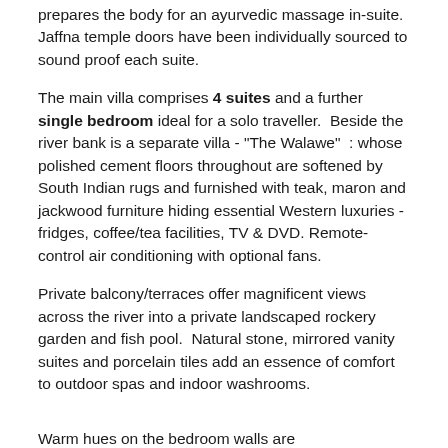prepares the body for an ayurvedic massage in-suite. Jaffna temple doors have been individually sourced to sound proof each suite.
The main villa comprises 4 suites and a further single bedroom ideal for a solo traveller. Beside the river bank is a separate villa - "The Walawe" : whose polished cement floors throughout are softened by South Indian rugs and furnished with teak, maron and jackwood furniture hiding essential Western luxuries - fridges, coffee/tea facilities, TV & DVD. Remote-control air conditioning with optional fans.
Private balcony/terraces offer magnificent views across the river into a private landscaped rockery garden and fish pool. Natural stone, mirrored vanity suites and porcelain tiles add an essence of comfort to outdoor spas and indoor washrooms.
Warm hues on the bedroom walls are